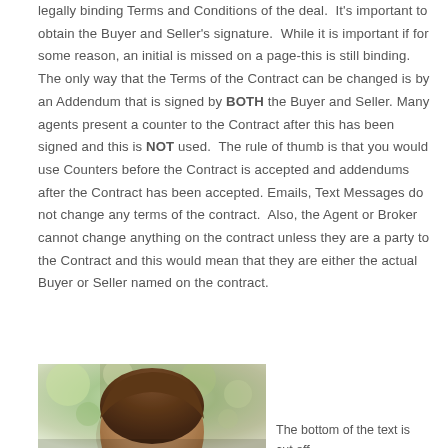legally binding Terms and Conditions of the deal.  It's important to obtain the Buyer and Seller's signature.  While it is important if for some reason, an initial is missed on a page-this is still binding.  The only way that the Terms of the Contract can be changed is by an Addendum that is signed by BOTH the Buyer and Seller. Many agents present a counter to the Contract after this has been signed and this is NOT used.  The rule of thumb is that you would use Counters before the Contract is accepted and addendums after the Contract has been accepted. Emails, Text Messages do not change any terms of the contract.  Also, the Agent or Broker cannot change anything on the contract unless they are a party to the Contract and this would mean that they are either the actual Buyer or Seller named on the contract.
[Figure (photo): Partial photo of a person with brown hair, outdoors with blurred green background. Only the top of the head is visible in this crop.]
The bottom of the text is cut off at the bottom right of the page.